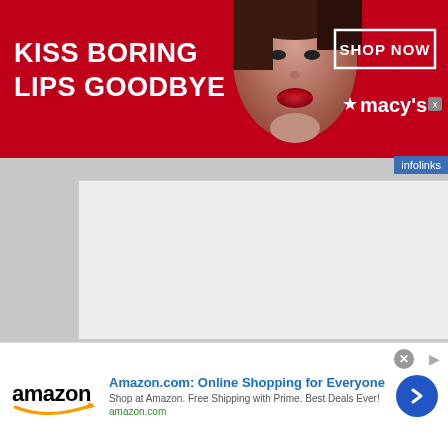[Figure (screenshot): Macy's advertisement banner: red background, white text 'KISS BORING LIPS GOODBYE', photo of woman's face with red lips in center, 'SHOP NOW' button box on right, Macy's star logo]
[Figure (screenshot): White/gray content area placeholder rectangle]
[Figure (screenshot): Video thumbnail split: left side shows elderly bald man's face against dark background with infolinks badge; right side black panel with text 'RUSSELL MILLER' and 'BARE-FACED MESSIAH' in teal/blue stylized font]
[Figure (screenshot): Amazon advertisement: Amazon logo on left, headline 'Amazon.com: Online Shopping for Everyone', subtext 'Shop at Amazon. Free Shipping with Prime. Best Deals Ever!', amazon.com URL in green, blue circular arrow button on right, close X button]